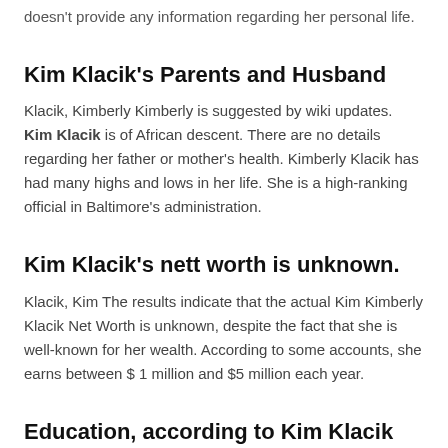doesn't provide any information regarding her personal life.
Kim Klacik's Parents and Husband
Klacik, Kimberly Kimberly is suggested by wiki updates. Kim Klacik is of African descent. There are no details regarding her father or mother's health. Kimberly Klacik has had many highs and lows in her life. She is a high-ranking official in Baltimore's administration.
Kim Klacik's nett worth is unknown.
Klacik, Kim The results indicate that the actual Kim Kimberly Klacik Net Worth is unknown, despite the fact that she is well-known for her wealth. According to some accounts, she earns between $ 1 million and $5 million each year.
Education, according to Kim Klacik